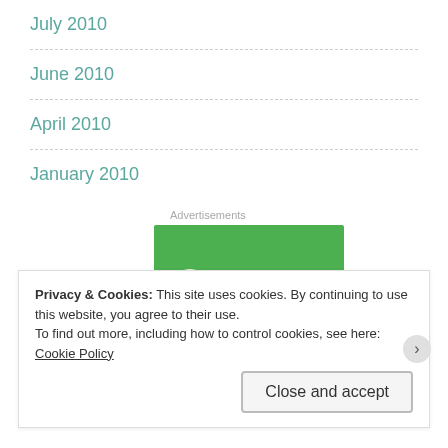July 2010
June 2010
April 2010
January 2010
[Figure (logo): Jetpack advertisement banner with green background showing Jetpack logo (lightning bolt in circle) and text 'Jetpack']
Privacy & Cookies: This site uses cookies. By continuing to use this website, you agree to their use.
To find out more, including how to control cookies, see here: Cookie Policy
Close and accept